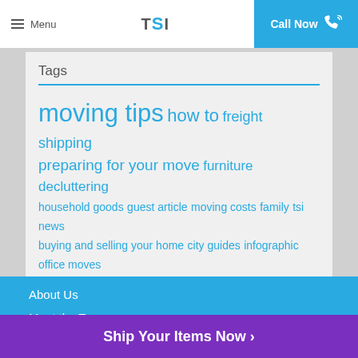Menu | TSI | Call Now
Tags
moving tips how to freight shipping preparing for your move furniture decluttering household goods guest article moving costs family tsi news buying and selling your home city guides infographic office moves commercial shipping
About Us
Meet the Team
Ship Your Items Now ›